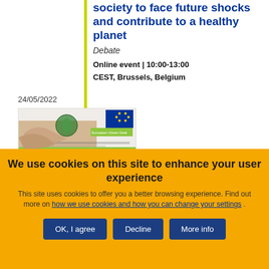society to face future shocks and contribute to a healthy planet
Debate
Online event | 10:00-13:00
CEST, Brussels, Belgium
24/05/2022
[Figure (illustration): European Green Deal event promotional image with hands and globe graphic]
We use cookies on this site to enhance your user experience
This site uses cookies to offer you a better browsing experience. Find out more on how we use cookies and how you can change your settings .
OK, I agree | Decline | More info